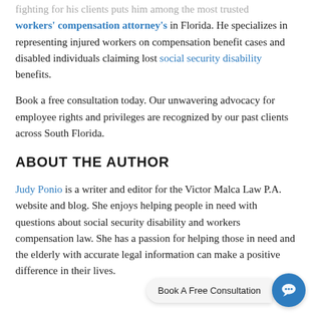fighting for his clients puts him among the most trusted workers' compensation attorney's in Florida. He specializes in representing injured workers on compensation benefit cases and disabled individuals claiming lost social security disability benefits.
Book a free consultation today. Our unwavering advocacy for employee rights and privileges are recognized by our past clients across South Florida.
ABOUT THE AUTHOR
Judy Ponio is a writer and editor for the Victor Malca Law P.A. website and blog. She enjoys helping people in need with questions about social security disability and workers compensation law. She has a passion for helping those in need and the elderly with accurate legal information can make a positive difference in their lives.